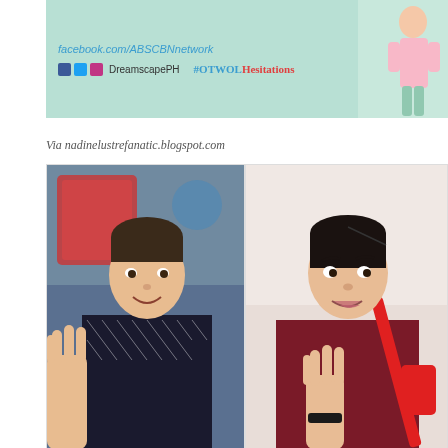[Figure (photo): Social media promotional banner for ABS-CBN network TV show, teal/mint green background with text 'facebook.com/ABSCBNnetwork', social media icons for Facebook, Twitter, Instagram with handle 'DreamscapePH' and hashtag '#OTWOLHesitations', with partial figure of a girl in pink/white outfit on the right side]
Via nadinelustrefanatic.blogspot.com
[Figure (photo): Two side-by-side photos: left photo shows a young Asian man smiling and waving at the camera, wearing a dark patterned shirt, with a colorful TV studio background; right photo shows a young Asian woman making a playful face and waving, wearing a burgundy/maroon top with a red crossbody bag]